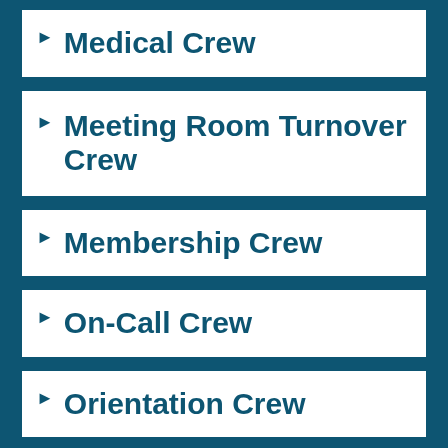Medical Crew
Meeting Room Turnover Crew
Membership Crew
On-Call Crew
Orientation Crew